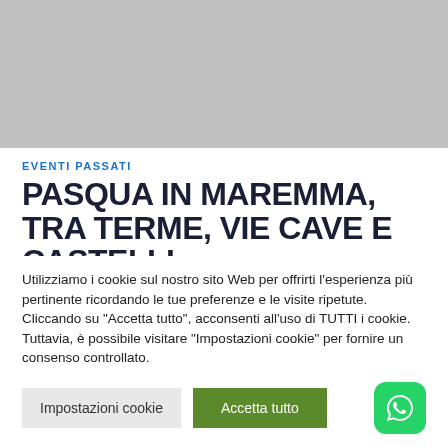[Figure (photo): Gray banner placeholder image at top of page]
EVENTI PASSATI
PASQUA IN MAREMMA, TRA TERME, VIE CAVE E CASTELLI
Utilizziamo i cookie sul nostro sito Web per offrirti l'esperienza più pertinente ricordando le tue preferenze e le visite ripetute. Cliccando su "Accetta tutto", acconsenti all'uso di TUTTI i cookie. Tuttavia, è possibile visitare "Impostazioni cookie" per fornire un consenso controllato.